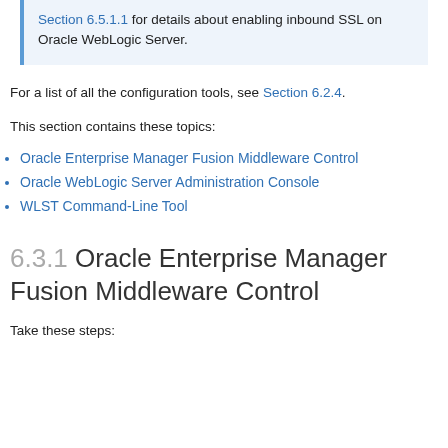Section 6.5.1.1 for details about enabling inbound SSL on Oracle WebLogic Server.
For a list of all the configuration tools, see Section 6.2.4.
This section contains these topics:
Oracle Enterprise Manager Fusion Middleware Control
Oracle WebLogic Server Administration Console
WLST Command-Line Tool
6.3.1 Oracle Enterprise Manager Fusion Middleware Control
Take these steps: